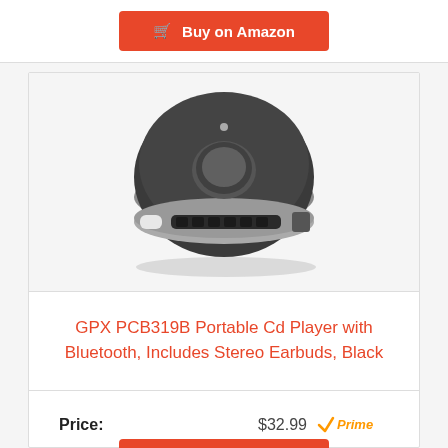Buy on Amazon
[Figure (photo): GPX PCB319B portable CD player, round dark gray/silver device with playback buttons along the bottom edge, viewed from above at an angle]
GPX PCB319B Portable Cd Player with Bluetooth, Includes Stereo Earbuds, Black
Price: $32.99 Prime
Buy on Amazon